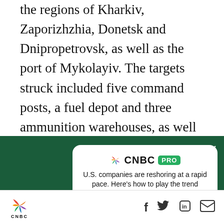the regions of Kharkiv, Zaporizhzhia, Donetsk and Dnipropetrovsk, as well as the port of Mykolayiv. The targets struck included five command posts, a fuel depot and three ammunition warehouses, as well as Ukrainian armor and forces, the statement said, adding that Russia's air force launched strikes on 108 areas where it said Ukrainian forces and weapons were
[Figure (screenshot): CNBC PRO subscription advertisement overlay on dark green background with white modal card showing headline 'U.S. companies are reshoring at a rapid pace. Here’s how to play the trend' and a green Subscribe Now button]
[Figure (logo): CNBC logo with peacock icon at bottom of page, alongside Facebook, Twitter, LinkedIn, and email social sharing icons]